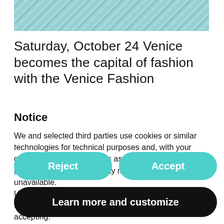[Figure (photo): Partial aerial or close-up photo of water/ocean surface with teal-green tones, cropped at top of page]
Saturday, October 24 Venice becomes the capital of fashion with the Venice Fashion
Notice
We and selected third parties use cookies or similar technologies for technical purposes and, with your consent, for other purposes as specified in the cookie policy. Denying consent may make related features unavailable.
Use the “Accept” button to consent to the use of such technologies. Use the “Reject” button to continue without accepting.